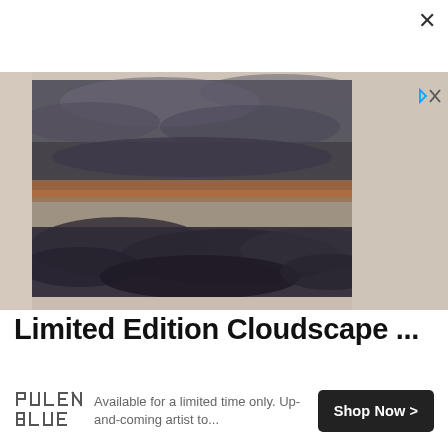[Figure (photo): A framed cloudscape painting showing dramatic dark storm clouds with an orange streak across the middle, displayed in a cream/beige frame against a light background. The painting occupies the upper portion of the ad.]
Limited Edition Cloudscape ...
[Figure (logo): Pulen Blue brand logo in stylized geometric letterforms]
Available for a limited time only. Up-and-coming artist to...
Shop Now >